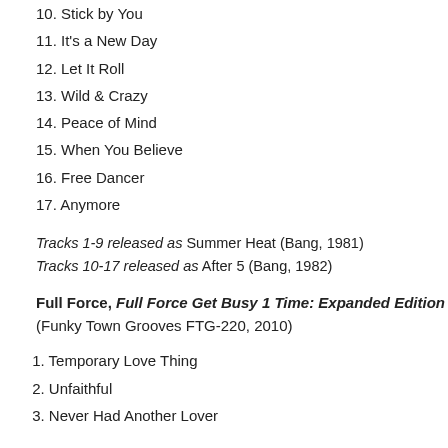10. Stick by You
11. It's a New Day
12. Let It Roll
13. Wild & Crazy
14. Peace of Mind
15. When You Believe
16. Free Dancer
17. Anymore
Tracks 1-9 released as Summer Heat (Bang, 1981)
Tracks 10-17 released as After 5 (Bang, 1982)
Full Force, Full Force Get Busy 1 Time: Expanded Edition (Funky Town Grooves FTG-220, 2010)
1. Temporary Love Thing
2. Unfaithful
3. Never Had Another Lover